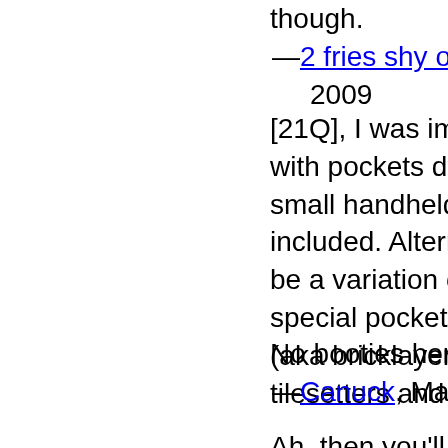though.
—2 fries shy of a happy meal, M... 2009
[21Q], I was imagining gardening with pockets down the sides for y small handheld gardening tools, included. Alternatively I guess the be a variation of carpenter's pant special pockets for a variety of tr (aka bricklayers pants) for mason tilesetters and such.
No booties here, please.
—Canuck, Mar 28 2009
Ah, then you'll need one of my ne "carpenter's knee pads". They ar from a lightweight, breathable stretchable fabric that has a gent padded section covered with a k shell to protect the outside of a carpenter's knee...
—Canuck, Mar
What would people with a lisp ca I wonder? Excellent idea. +
—blissmiss, Mar